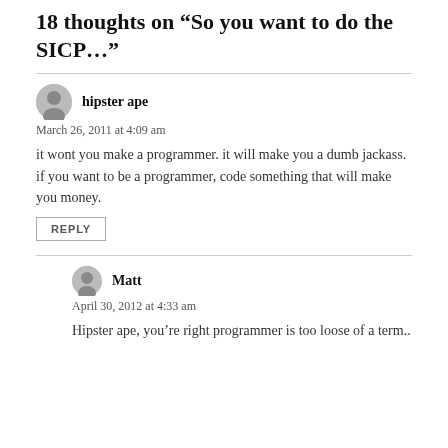18 thoughts on “So you want to do the SICP…”
hipster ape
March 26, 2011 at 4:09 am
it wont you make a programmer. it will make you a dumb jackass. if you want to be a programmer, code something that will make you money.
REPLY
Matt
April 30, 2012 at 4:33 am
Hipster ape, you’re right programmer is too loose of a term..